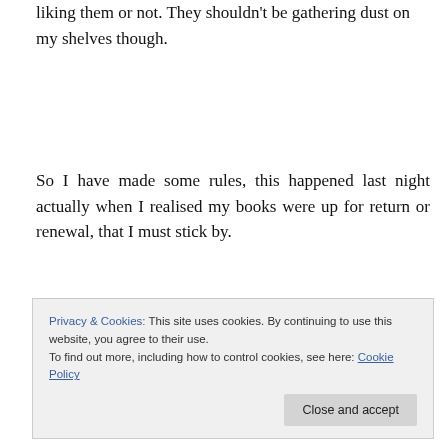liking them or not. They shouldn't be gathering dust on my shelves though.
So I have made some rules, this happened last night actually when I realised my books were up for return or renewal, that I must stick by.
I can borrow the maximum amount of books and not feel guilty, that is what the library is for and we are...
Privacy & Cookies: This site uses cookies. By continuing to use this website, you agree to their use. To find out more, including how to control cookies, see here: Cookie Policy
read it, just let it go, if I still do but haven't I need to buy